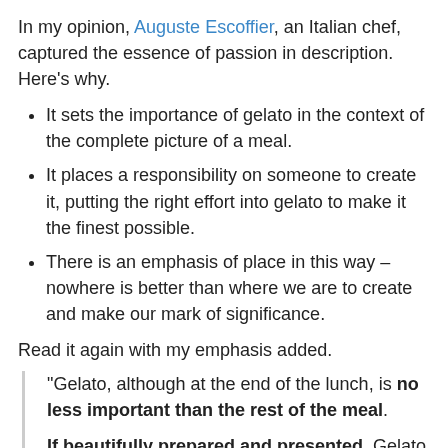In my opinion, Auguste Escoffier, an Italian chef, captured the essence of passion in description. Here's why.
It sets the importance of gelato in the context of the complete picture of a meal.
It places a responsibility on someone to create it, putting the right effort into gelato to make it the finest possible.
There is an emphasis of place in this way – nowhere is better than where we are to create and make our mark of significance.
Read it again with my emphasis added.
“Gelato, although at the end of the lunch, is no less important than the rest of the meal. If beautifully prepared and presented, Gelato represents the finest of delicacies. Nowhere but in Italy has the genius and creativity of the art of making gelato produced such a delicacy